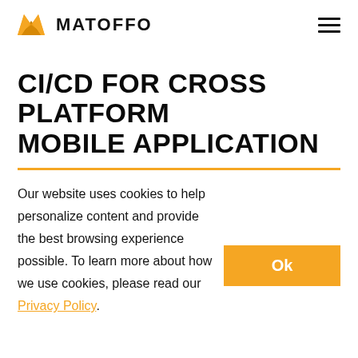MATOFFO
CI/CD FOR CROSS PLATFORM MOBILE APPLICATION
Our website uses cookies to help personalize content and provide the best browsing experience possible. To learn more about how we use cookies, please read our Privacy Policy.